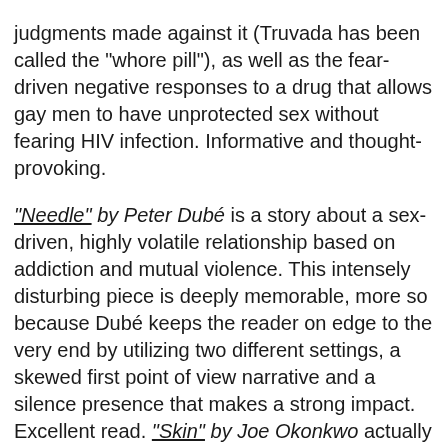judgments made against it (Truvada has been called the "whore pill"), as well as the fear-driven negative responses to a drug that allows gay men to have unprotected sex without fearing HIV infection. Informative and thought-provoking.
"Needle" by Peter Dubé is a story about a sex-driven, highly volatile relationship based on addiction and mutual violence. This intensely disturbing piece is deeply memorable, more so because Dubé keeps the reader on edge to the very end by utilizing two different settings, a skewed first point of view narrative and a silence presence that makes a strong impact. Excellent read. "Skin" by Joe Okonkwo actually wrung a wow from me at the end of this piece. Oh the hypocrisy!! Okonkwo focuses on ageism and the gay community's iconisation of the perfect body. He touches all the important points, i.e., the invisibility factor and the effect it has on men after they reach a certain age, as well as the love of the "body beautiful" and how it affects gay men who do not fall under that category. Skin is a great read throughout, but the ending makes it unforgettable.
"My Adventure with Tom Sawyer" by Jameson Currier is one of the...